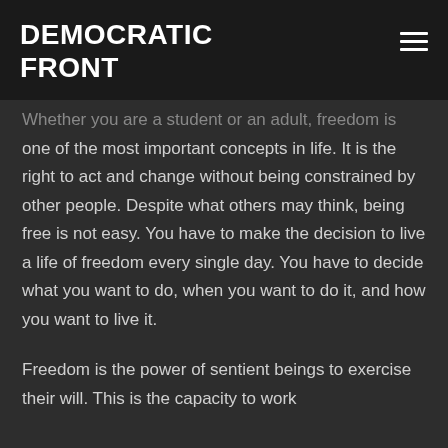DEMOCRATIC FRONT
Whether you are a student or an adult, freedom is one of the most important concepts in life. It is the right to act and change without being constrained by other people. Despite what others may think, being free is not easy. You have to make the decision to live a life of freedom every single day. You have to decide what you want to do, when you want to do it, and how you want to live it.
Freedom is the power of sentient beings to exercise their will. This is the capacity to work